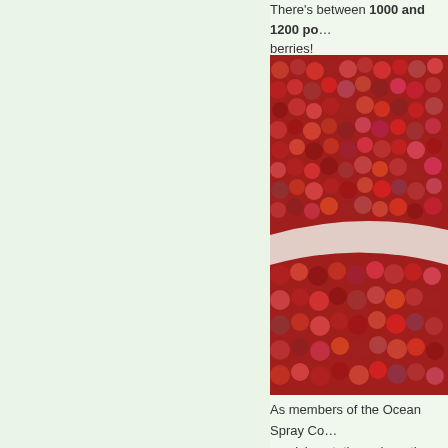There's between 1000 and 1200 pounds of berries!
[Figure (photo): Close-up photograph of harvested cranberries piled in trays/bins, showing red and dark red cranberries densely packed together]
As members of the Ocean Spray Co... receiving station, where they are cle... All of our fruit is used for processing...